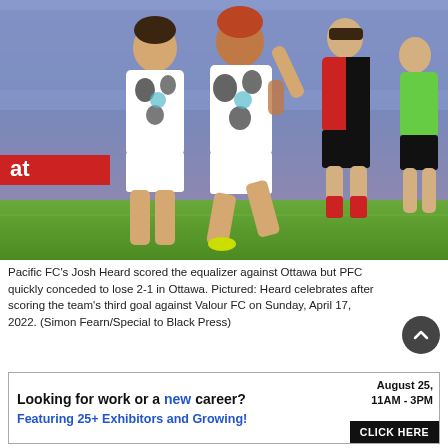[Figure (photo): Soccer players in white patterned Volkswagen-sponsored jerseys celebrating on a field, with opposing players in red/black and green goalkeeper kit in background. Stadium crowd visible.]
Pacific FC's Josh Heard scored the equalizer against Ottawa but PFC quickly conceded to lose 2-1 in Ottawa. Pictured: Heard celebrates after scoring the team's third goal against Valour FC on Sunday, April 17, 2022. (Simon Fearn/Special to Black Press)
[Figure (infographic): Job fair advertisement: 'Looking for work or a new career? August 25, 11AM - 3PM. Featuring 25+ Exhibitors and Growing! CLICK HERE']